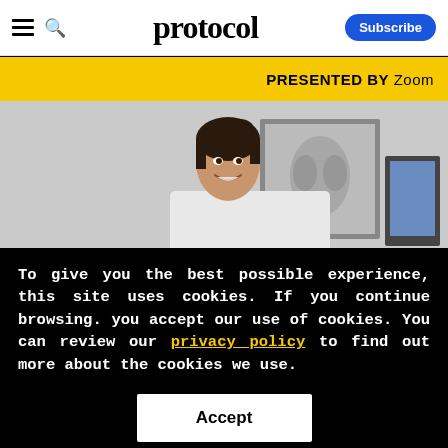protocol — Subscribe
PRESENTED BY Zoom
[Figure (photo): A smiling woman in a white coat (doctor/medical professional) standing in front of a framed x-ray image and a computer monitor in a clinical setting.]
To give you the best possible experience, this site uses cookies. If you continue browsing. you accept our use of cookies. You can review our privacy policy to find out more about the cookies we use.
Accept